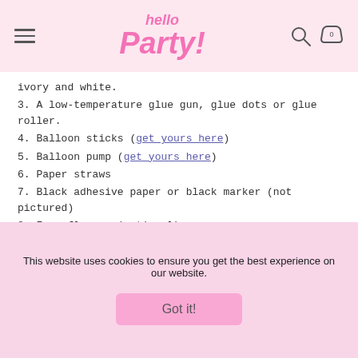hello Party! [navigation header with hamburger menu, logo, search and cart icons]
ivory and white.
3. A low-temperature glue gun, glue dots or glue roller.
4. Balloon sticks (get yours here)
5. Balloon pump (get yours here)
6. Paper straws
7. Black adhesive paper or black marker (not pictured)
8. Faux flowers (optional)
This website uses cookies to ensure you get the best experience on our website.
Got it!